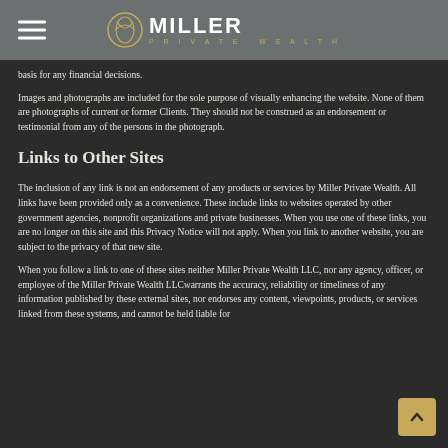Miller Private Wealth
basis for any financial decisions.
Images and photographs are included for the sole purpose of visually enhancing the website. None of them are photographs of current or former Clients. They should not be construed as an endorsement or testimonial from any of the persons in the photograph.
Links to Other Sites
The inclusion of any link is not an endorsement of any products or services by Miller Private Wealth. All links have been provided only as a convenience. These include links to websites operated by other government agencies, nonprofit organizations and private businesses. When you use one of these links, you are no longer on this site and this Privacy Notice will not apply. When you link to another website, you are subject to the privacy of that new site.
When you follow a link to one of these sites neither Miller Private Wealth LLC, nor any agency, officer, or employee of the Miller Private Wealth LLCwarrants the accuracy, reliability or timeliness of any information published by these external sites, nor endorses any content, viewpoints, products, or services linked from these systems, and cannot be held liable for